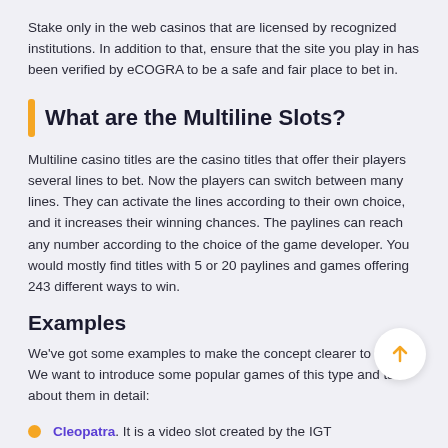Stake only in the web casinos that are licensed by recognized institutions. In addition to that, ensure that the site you play in has been verified by eCOGRA to be a safe and fair place to bet in.
What are the Multiline Slots?
Multiline casino titles are the casino titles that offer their players several lines to bet. Now the players can switch between many lines. They can activate the lines according to their own choice, and it increases their winning chances. The paylines can reach any number according to the choice of the game developer. You would mostly find titles with 5 or 20 paylines and games offering 243 different ways to win.
Examples
We've got some examples to make the concept clearer to you. We want to introduce some popular games of this type and talk about them in detail:
Cleopatra. It is a video slot created by the IGT software n. The theme is based on the famous beautiful queen Cleopatra who is still considered one of the most beautiful females ever lived on Earth's face. The game has 20 paylines, and the players can